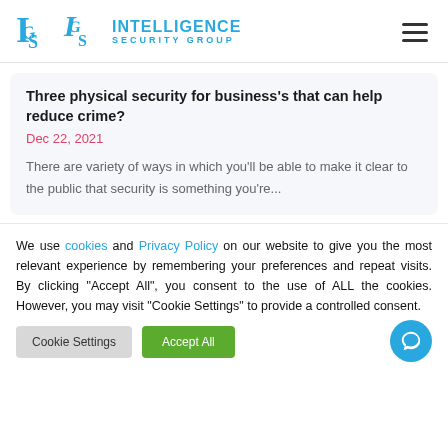INTELLIGENCE SECURITY GROUP
Three physical security for business's that can help reduce crime?
Dec 22, 2021
There are variety of ways in which you'll be able to make it clear to the public that security is something you're...
We use cookies and Privacy Policy on our website to give you the most relevant experience by remembering your preferences and repeat visits. By clicking "Accept All", you consent to the use of ALL the cookies. However, you may visit "Cookie Settings" to provide a controlled consent.
Cookie Settings | Accept All